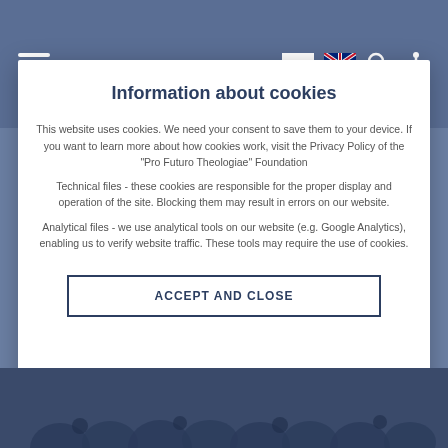[Figure (screenshot): Website navigation header bar with hamburger menu, Polish flag, UK flag, search icon, and accessibility icon on a blue-grey background]
Information about cookies
This website uses cookies. We need your consent to save them to your device. If you want to learn more about how cookies work, visit the Privacy Policy of the "Pro Futuro Theologiae" Foundation
Technical files - these cookies are responsible for the proper display and operation of the site. Blocking them may result in errors on our website.
Analytical files - we use analytical tools on our website (e.g. Google Analytics), enabling us to verify website traffic. These tools may require the use of cookies.
ACCEPT AND CLOSE